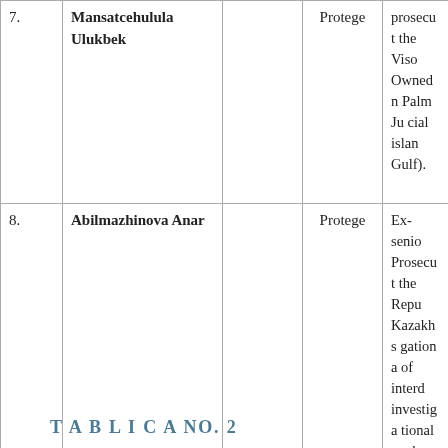| # | Name |  | Role | Description |
| --- | --- | --- | --- | --- |
| 7. | Mansatcehulula Ulukbek |  | Protege | prosecut the Viso Owned n Palm Ju cial islan Gulf). |
| 8. | Abilmazhinova Anar |  | Protege | Ex-senio Prosecut the Repu Kazakhs gation a of interd investiga tional gr she rece ed sente |
TABLICA No. 2